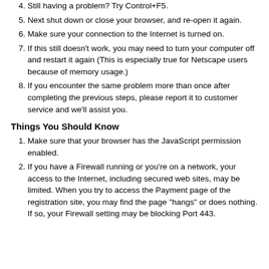4. Still having a problem? Try Control+F5.
5. Next shut down or close your browser, and re-open it again.
6. Make sure your connection to the Internet is turned on.
7. If this still doesn't work, you may need to turn your computer off and restart it again (This is especially true for Netscape users because of memory usage.)
8. If you encounter the same problem more than once after completing the previous steps, please report it to customer service and we'll assist you.
Things You Should Know
1. Make sure that your browser has the JavaScript permission enabled.
2. If you have a Firewall running or you're on a network, your access to the Internet, including secured web sites, may be limited. When you try to access the Payment page of the registration site, you may find the page "hangs" or does nothing. If so, your Firewall setting may be blocking Port 443.